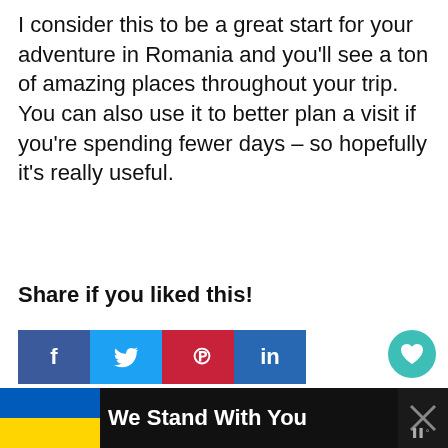I consider this to be a great start for your adventure in Romania and you'll see a ton of amazing places throughout your trip. You can also use it to better plan a visit if you're spending fewer days – so hopefully it's really useful.
Share if you liked this!
[Figure (other): Social share buttons: Facebook (f), Twitter (bird icon), Pinterest (P), LinkedIn (in)]
[Figure (other): Heart/like button with count 15 and share icon, teal circular buttons on right side]
< Will US Citizens Need Visa to Visit Romania & EU Countries Starting 2021?
[Figure (other): Banner at bottom: Ukrainian flag colors with text 'We Stand With You' and close button]